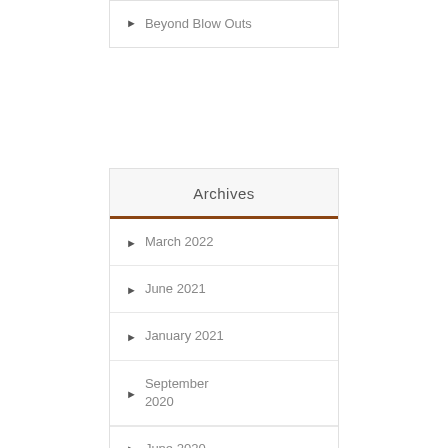Beyond Blow Outs
Archives
March 2022
June 2021
January 2021
September 2020
June 2020